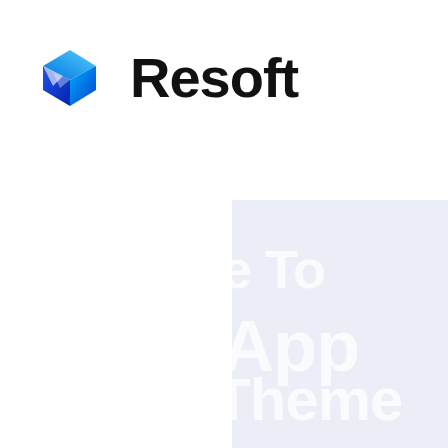[Figure (logo): Resoft company logo: a blue 3D cube/gem icon on the left and bold black text 'Resoft' on the right]
[Figure (screenshot): Partially visible promotional/landing page with light blue-lavender background panel showing large white bold text fragments: 'e To', 'App', 'Theme', and smaller text 'ing the same routine da...']